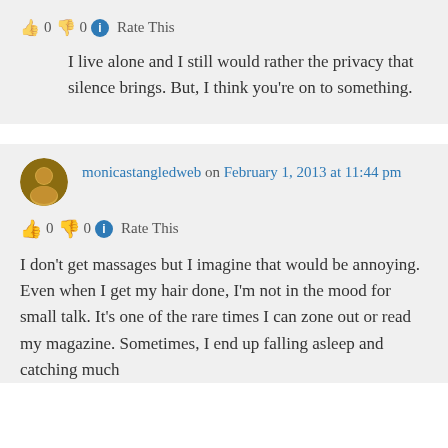0  0  Rate This
I live alone and I still would rather the privacy that silence brings. But, I think you're on to something.
monicastangledweb on February 1, 2013 at 11:44 pm
0  0  Rate This
I don't get massages but I imagine that would be annoying. Even when I get my hair done, I'm not in the mood for small talk. It's one of the rare times I can zone out or read my magazine. Sometimes, I end up falling asleep and catching much